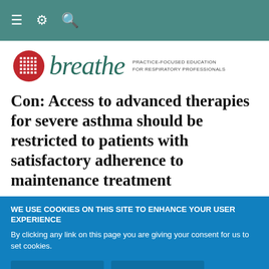≡ ⚙ 🔍
[Figure (logo): Breathe journal logo: red circle with grid pattern, italic teal 'breathe' wordmark, tagline 'PRACTICE-FOCUSED EDUCATION FOR RESPIRATORY PROFESSIONALS']
Con: Access to advanced therapies for severe asthma should be restricted to patients with satisfactory adherence to maintenance treatment
WE USE COOKIES ON THIS SITE TO ENHANCE YOUR USER EXPERIENCE
By clicking any link on this page you are giving your consent for us to set cookies.